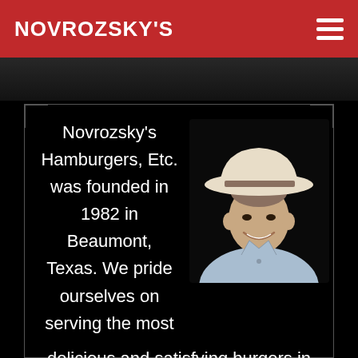NOVROZSKY'S
[Figure (photo): Man in white cowboy hat and light blue shirt smiling, portrait photo on dark background]
Novrozsky's Hamburgers, Etc. was founded in 1982 in Beaumont, Texas. We pride ourselves on serving the most delicious and satisfying burgers in Texas. Our hamburgers are made with 100% all natural,